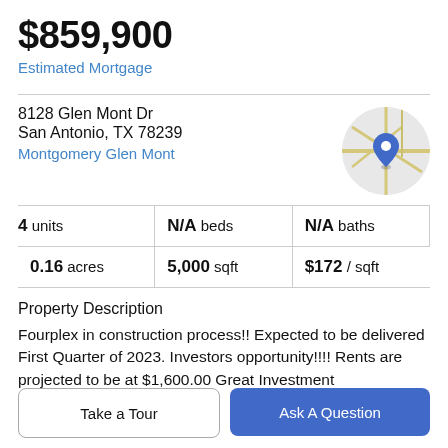$859,900
Estimated Mortgage
8128 Glen Mont Dr
San Antonio, TX 78239
Montgomery Glen Mont
[Figure (map): Circular map thumbnail showing street map with a blue location pin marker]
| 4 units | N/A beds | N/A baths |
| 0.16 acres | 5,000 sqft | $172 / sqft |
Property Description
Fourplex in construction process!! Expected to be delivered First Quarter of 2023. Investors opportunity!!!! Rents are projected to be at $1,600.00 Great Investment
Take a Tour | Ask A Question